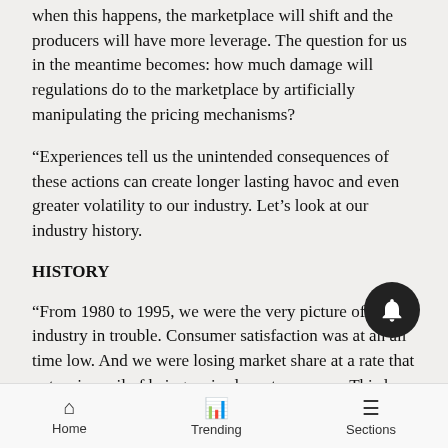when this happens, the marketplace will shift and the producers will have more leverage. The question for us in the meantime becomes: how much damage will regulations do to the marketplace by artificially manipulating the pricing mechanisms?
“Experiences tell us the unintended consequences of these actions can create longer lasting havoc and even greater volatility to our industry. Let’s look at our industry history.
HISTORY
“From 1980 to 1995, we were the very picture of an industry in trouble. Consumer satisfaction was at an all time low. And we were losing market share at a rate that put us in peril of being an irrelevant pro…. This loss of market share and dissatisfaction was
Home   Trending   Sections